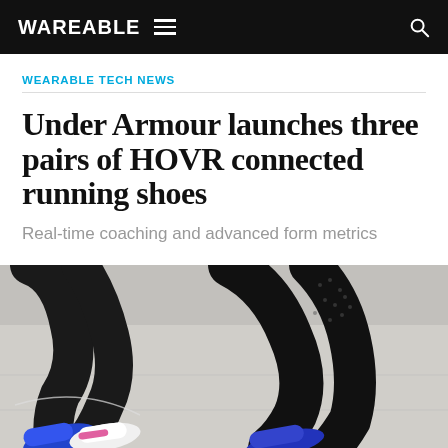WAREABLE
WEARABLE TECH NEWS
Under Armour launches three pairs of HOVR connected running shoes
Real-time coaching and advanced form metrics
[Figure (photo): Two runners wearing black athletic wear and Under Armour HOVR running shoes (blue and white/pink) running on a concrete surface, legs and feet visible from waist down.]